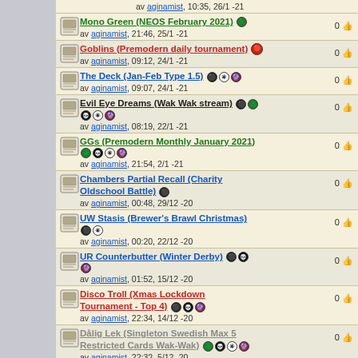av aginamist, 10:35, 26/1 -21
Mono Green (NEOS February 2021) — av aginamist, 21:46, 25/1 -21 — 0 likes
Goblins (Premodern daily tournament) — av aginamist, 09:12, 24/1 -21 — 0 likes
The Deck (Jan-Feb Type 1.5) — av aginamist, 09:07, 24/1 -21 — 0 likes
Evil Eye Dreams (Wak Wak stream) — av aginamist, 08:19, 22/1 -21 — 0 likes
GGs (Premodern Monthly January 2021) — av aginamist, 21:54, 2/1 -21 — 0 likes
Chambers Partial Recall (Charity Oldschool Battle) — av aginamist, 00:48, 29/12 -20 — 0 likes
UW Stasis (Brewer's Brawl Christmas) — av aginamist, 00:20, 22/12 -20 — 0 likes
UR Counterbutter (Winter Derby) — av aginamist, 01:52, 15/12 -20 — 0 likes
Disco Troll (Xmas Lockdown Tournament - Top 4) — av aginamist, 22:34, 14/12 -20 — 0 likes
Dålig Lek (Singleton Swedish Max 5 Restricted Cards Wak-Wak) — av aginamist, 22:32, 5/12 -20 — 0 likes
Dreams Combo (NEOS Dec 2020 - Top 8) — av aginamist — 0 likes